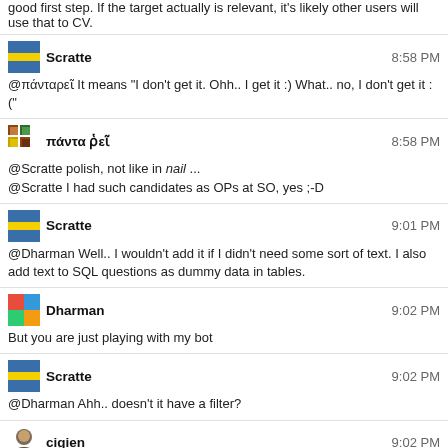good first step. If the target actually is relevant, it's likely other users will use that to CV.
Scratte 8:58 PM
@πάνταρεῖ It means "I don't get it. Ohh.. I get it :) What.. no, I don't get it :("
πάντα ῥεῖ 8:58 PM
@Scratte polish, not like in nail ...
@Scratte I had such candidates as OPs at SO, yes ;-D
Scratte 9:01 PM
@Dharman Well.. I wouldn't add it if I didn't need some sort of text. I also add text to SQL questions as dummy data in tables.
Dharman 9:02 PM
But you are just playing with my bot
Scratte 9:02 PM
@Dharman Ahh.. doesn't it have a filter?
cigien 9:02 PM
@Makyen Thanks. I'll certainly revise the wording over time. I'm going to think about how to communicate that it's policy without actually using words like "policy" though. That can seem alienating, or off putting to some people (again, especially new users, who are non-native speakers). An easy to read meta post is a good idea, I'll try to find something that's appropriate.
Dharman 9:02 PM
@Scratte No, there is no Scratte filter